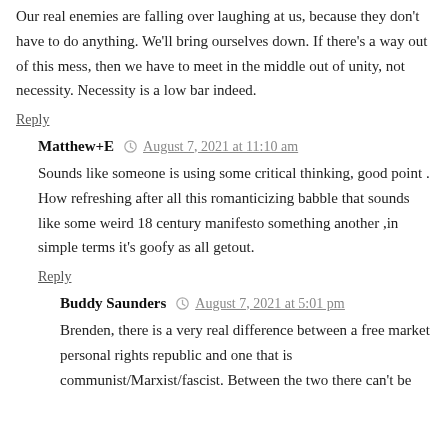Our real enemies are falling over laughing at us, because they don't have to do anything. We'll bring ourselves down. If there's a way out of this mess, then we have to meet in the middle out of unity, not necessity. Necessity is a low bar indeed.
Reply
Matthew+E  August 7, 2021 at 11:10 am
Sounds like someone is using some critical thinking, good point . How refreshing after all this romanticizing babble that sounds like some weird 18 century manifesto something another ,in simple terms it's goofy as all getout.
Reply
Buddy Saunders  August 7, 2021 at 5:01 pm
Brenden, there is a very real difference between a free market personal rights republic and one that is communist/Marxist/fascist. Between the two there can't be